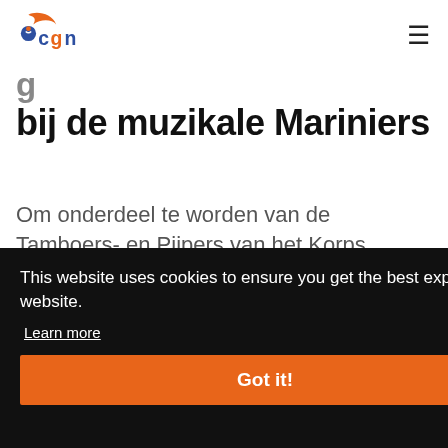[Figure (logo): CGN logo with orange flame/wing shape and blue circle accent, text 'cgn' in blue and orange]
bij de muzikale Mariniers
Om onderdeel te worden van de Tamboers- en Pijpers van het Korps Mariniers, is een traject uitgestippeld wat een cadet zowel muzikaal als
This website uses cookies to ensure you get the best experience on our website.
Learn more
Got it!